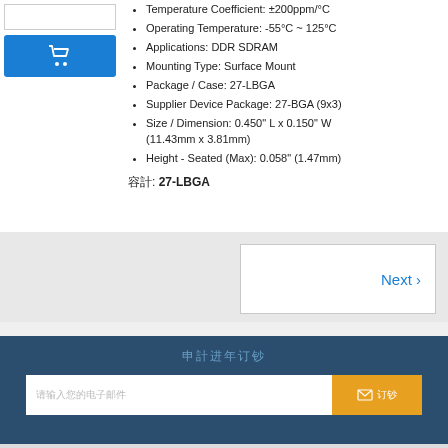Temperature Coefficient: ±200ppm/°C
Operating Temperature: -55°C ~ 125°C
Applications: DDR SDRAM
Mounting Type: Surface Mount
Package / Case: 27-LBGA
Supplier Device Package: 27-BGA (9x3)
Size / Dimension: 0.450" L x 0.150" W (11.43mm x 3.81mm)
Height - Seated (Max): 0.058" (1.47mm)
封裝: 27-LBGA
Next ›
電子報訂閱
請輸入您的電子郵件